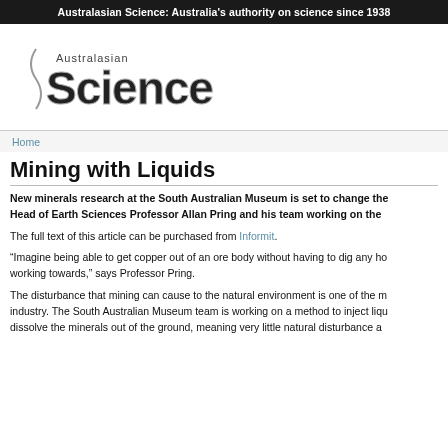Australasian Science: Australia's authority on science since 1938
[Figure (logo): Australasian Science magazine logo with stylized lettering]
Home
Mining with Liquids
New minerals research at the South Australian Museum is set to change the Head of Earth Sciences Professor Allan Pring and his team working on the
The full text of this article can be purchased from Informit.
“Imagine being able to get copper out of an ore body without having to dig any ho working towards,” says Professor Pring.
The disturbance that mining can cause to the natural environment is one of the m industry. The South Australian Museum team is working on a method to inject liqu dissolve the minerals out of the ground, meaning very little natural disturbance a